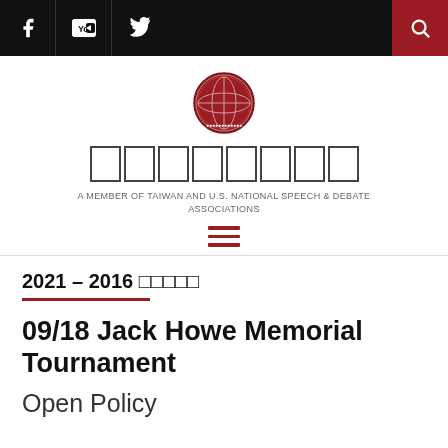Navigation bar with Facebook, YouTube, Twitter icons and search button
[Figure (logo): Circular organization logo with globe design in dark red/maroon]
□□□□□□□□ (Chinese characters rendered as boxes)
A MEMBER OF TAIWAN AND U.S. NATIONAL SPEECH & DEBATE ASSOCIATIONS
[Figure (other): Hamburger menu icon in dark red]
2021 – 2016 □□□□□
09/18 Jack Howe Memorial Tournament
Open Policy